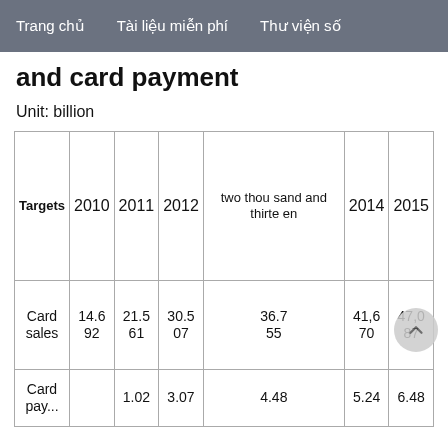Trang chủ   Tài liệu miễn phí   Thư viện số
and card payment
Unit: billion
| Targets | 2010 | 2011 | 2012 | two thousand and thirteen | 2014 | 2015 |
| --- | --- | --- | --- | --- | --- | --- |
| Card sales | 14.692 | 21.561 | 30.507 | 36.755 | 41,670 | 47,087 |
| Card pay... |  | 1.02 | 3.07 | 4.48 | 5.24 | 6.48 |